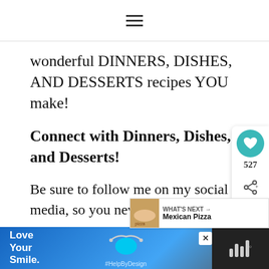≡
wonderful DINNERS, DISHES, AND DESSERTS recipes YOU make!
Connect with Dinners, Dishes, and Desserts!
Be sure to follow me on my social media, so you never miss a post!
Facebook | Twitter | Pinterest | Instag…
[Figure (other): Social share widget with heart icon (teal), count 527, and share icon]
[Figure (other): What's Next overlay showing Mexican Pizza with food thumbnail]
[Figure (other): Love Your Smile advertisement banner at the bottom with blue background and HelpByDesign hashtag]